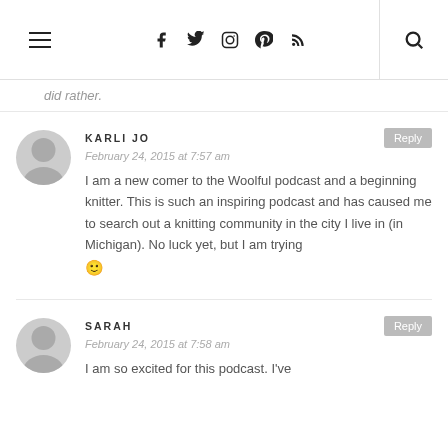Navigation header with hamburger menu, social icons (Facebook, Twitter, Instagram, Pinterest, RSS), and search icon
did rather.
KARLI JO
February 24, 2015 at 7:57 am
I am a new comer to the Woolful podcast and a beginning knitter. This is such an inspiring podcast and has caused me to search out a knitting community in the city I live in (in Michigan). No luck yet, but I am trying 🙂
SARAH
February 24, 2015 at 7:58 am
I am so excited for this podcast. I've